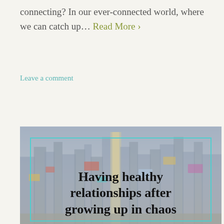connecting? In our ever-connected world, where we can catch up… Read More ›
Leave a comment
[Figure (photo): Photo of Times Square New York City at night with bright signs and tall buildings, with a teal border overlay and bold title text reading 'Having healthy relationships after growing up in chaos']